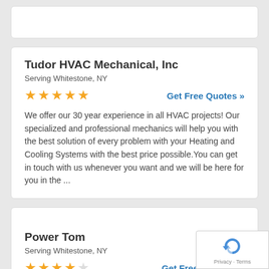Tudor HVAC Mechanical, Inc
Serving Whitestone, NY
★★★★★  Get Free Quotes »
We offer our 30 year experience in all HVAC projects! Our specialized and professional mechanics will help you with the best solution of every problem with your Heating and Cooling Systems with the best price possible.You can get in touch with us whenever you want and we will be here for you in the ...
Power Tom
Serving Whitestone, NY
★★★★☆  Get Free Qu
HVAC Company focus on customer service, efficiency and